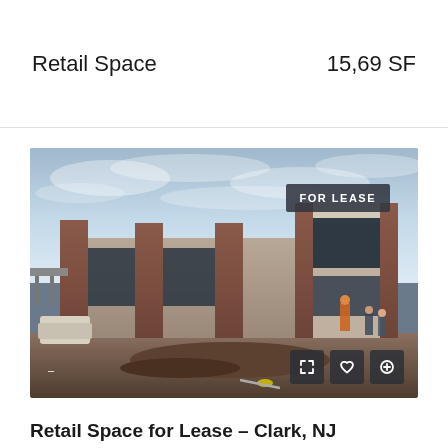Retail Space
15,69 SF
[Figure (photo): Exterior photo of a retail/commercial building under construction or recently built, with brick and stone facade, large windows, cloudy sky, dirt foreground. Badge reads FOR LEASE. Controls for expand, favorite, and add visible at bottom right.]
Retail Space for Lease – Clark, NJ